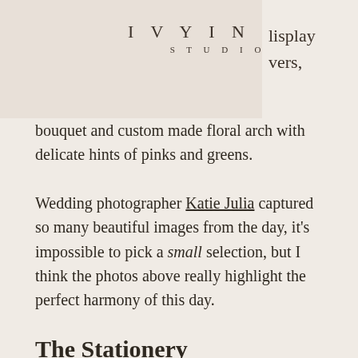IVYINKS STUDIO
bouquet and custom made floral arch with delicate hints of pinks and greens.
Wedding photographer Katie Julia captured so many beautiful images from the day, it's impossible to pick a small selection, but I think the photos above really highlight the perfect harmony of this day.
The Stationery
Katie and Jonny were keen to make a lasting impression on their guests so we knew unique luxury wedding invitations were the way to go. We printed a delicate white ink design